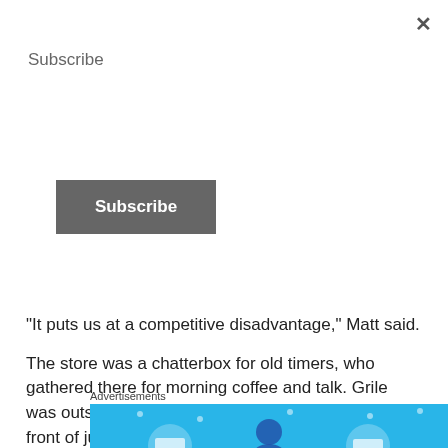Subscribe
Subscribe
“It puts us at a competitive disadvantage,” Matt said.
The store was a chatterbox for old timers, who gathered there for morning coffee and talk. Grile was outspoken about politics, even though not in front of just anyone.
“I will miss the customers,” said Grile.
Copyright © 2013 story and photo by Emma Palova
Advertisements
[Figure (illustration): Blue advertisement banner with circular icons and a central figure]